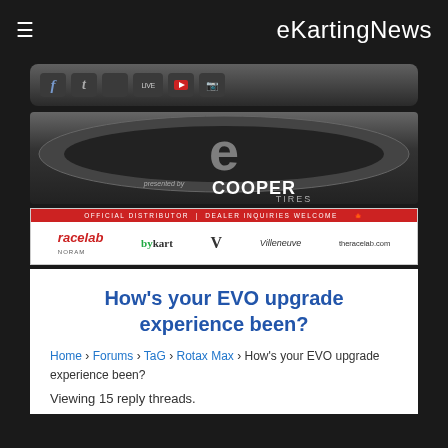eKartingNews
[Figure (screenshot): Social media icons bar with Facebook, Twitter, Apple, Live, YouTube, Instagram icons on dark rounded background]
[Figure (logo): eKartingNews logo — large stylized 'e' in oval, 'presented by Cooper Tires' text below]
[Figure (screenshot): Racelab Noram advertisement banner — Official Distributor, Dealer Inquiries Welcome. Logos: racelab noram, bykart, Villeneuve, theracelab.com]
How's your EVO upgrade experience been?
Home › Forums › TaG › Rotax Max › How's your EVO upgrade experience been?
Viewing 15 reply threads.